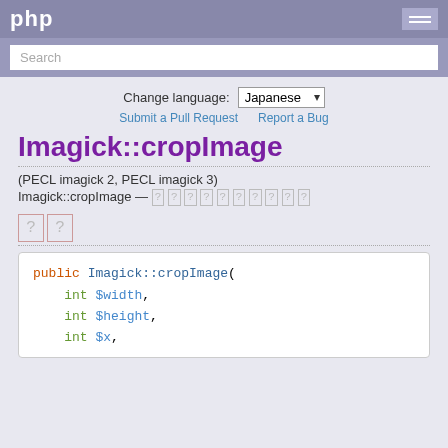php
Search
Change language: Japanese
Submit a Pull Request   Report a Bug
Imagick::cropImage
(PECL imagick 2, PECL imagick 3)
Imagick::cropImage — [tofu characters]
[Figure (other): Two tofu/placeholder boxes representing untranslated Japanese characters]
public Imagick::cropImage(
    int $width,
    int $height,
    int $x,